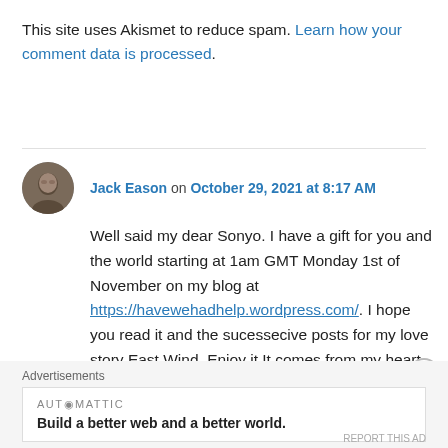This site uses Akismet to reduce spam. Learn how your comment data is processed.
Jack Eason on October 29, 2021 at 8:17 AM

Well said my dear Sonyo. I have a gift for you and the world starting at 1am GMT Monday 1st of November on my blog at https://havewehadhelp.wordpress.com/. I hope you read it and the sucessecive posts for my love story East Wind. Enjoy it.It comes from my heart 😉 XX
Advertisements
AUTOMATTIC
Build a better web and a better world.